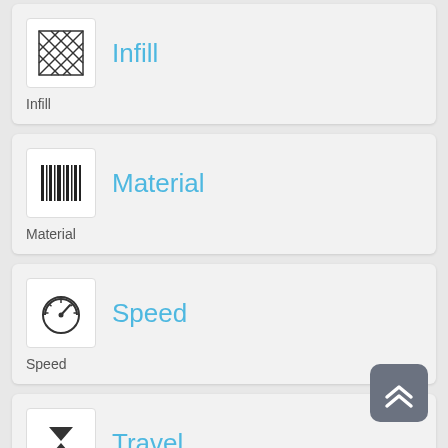[Figure (illustration): Infill settings menu item with crosshatch icon and blue title 'Infill', label 'Infill']
[Figure (illustration): Material settings menu item with barcode-style vertical lines icon and blue title 'Material', label 'Material']
[Figure (illustration): Speed settings menu item with speedometer icon and blue title 'Speed', label 'Speed']
[Figure (illustration): Travel settings menu item with hourglass/travel icon and blue title 'Travel', label 'Travel']
[Figure (illustration): Scroll to top button with double chevron up arrow in dark gray]